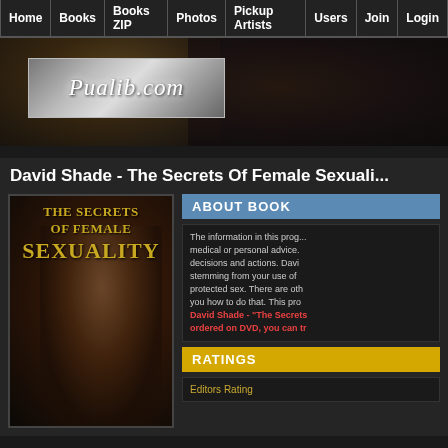Home | Books | Books ZIP | Photos | Pickup Artists | Users | Join | Login
[Figure (screenshot): Website banner with Pualib.com logo on metallic background with dark crowd photo]
David Shade - The Secrets Of Female Sexuali...
[Figure (photo): Book cover: The Secrets Of Female Sexuality with woman's face and gold text on dark background]
ABOUT BOOK
The information in this prog... medical or personal advice. decisions and actions. Davi stemming from your use of protected sex. There are oth you how to do that. This pro David Shade - "The Secrets ordered on DVD, you can tr
RATINGS
Editors Rating